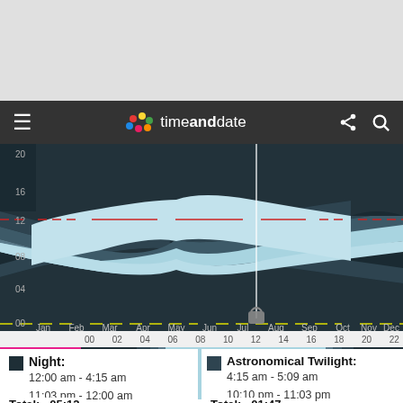[Figure (screenshot): timeanddate.com website screenshot showing a nav bar with hamburger menu, timeanddate logo, share and search icons on dark background]
[Figure (area-chart): Yearly daylight/twilight chart showing hours of daylight across months Jan-Dec with layered areas representing night, astronomical twilight, and day. Y-axis 00-20, X-axis Jan-Dec. Red dashed line at 12h. Yellow dashed line at 00. A vertical white cursor line at Aug position.]
[Figure (bar-chart): Daily light bar for Aug 21 showing 24-hour day with night (dark), twilight (medium gray), and daylight (light blue) bands. Time axis 00-22.]
Aug 21
Night:
12:00 am - 4:15 am
11:03 pm - 12:00 am
Astronomical Twilight:
4:15 am - 5:09 am
10:10 pm - 11:03 pm
Total:   05:12
Total:   01:47